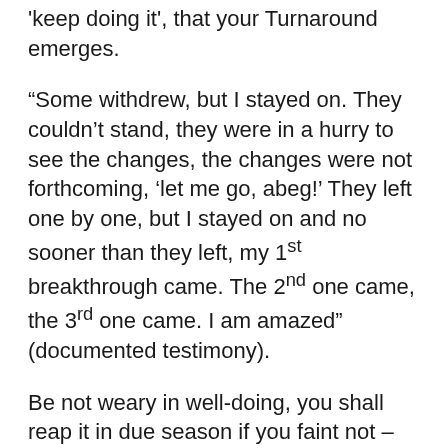'keep doing it', that your Turnaround emerges.
“Some withdrew, but I stayed on. They couldn’t stand, they were in a hurry to see the changes, the changes were not forthcoming, ‘let me go, abeg!’ They left one by one, but I stayed on and no sooner than they left, my 1st breakthrough came. The 2nd one came, the 3rd one came. I am amazed” (documented testimony).
Be not weary in well-doing, you shall reap it in due season if you faint not – Galatians 6:9.
When you stop filling your cloud before it is full, it turns into vapour and disappears. When you keep on but not filling it, for how...